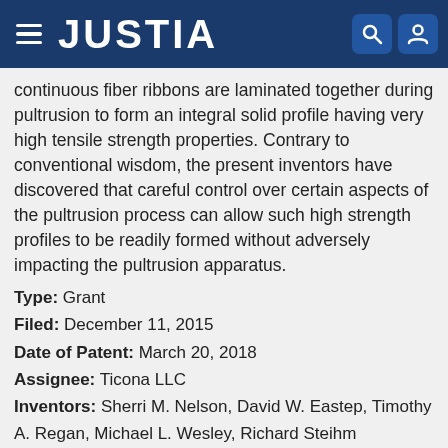JUSTIA
continuous fiber ribbons are laminated together during pultrusion to form an integral solid profile having very high tensile strength properties. Contrary to conventional wisdom, the present inventors have discovered that careful control over certain aspects of the pultrusion process can allow such high strength profiles to be readily formed without adversely impacting the pultrusion apparatus.
Type: Grant
Filed: December 11, 2015
Date of Patent: March 20, 2018
Assignee: Ticona LLC
Inventors: Sherri M. Nelson, David W. Eastep, Timothy A. Regan, Michael L. Wesley, Richard Steihm
Turbine engine blade made of composite material with a